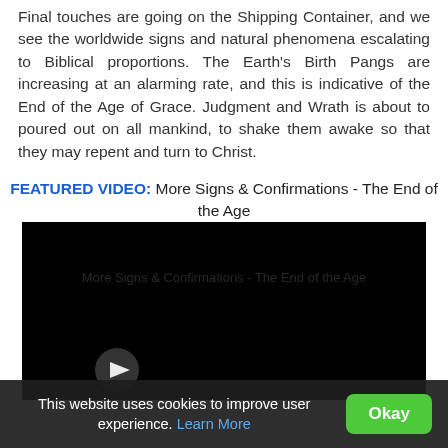Final touches are going on the Shipping Container, and we see the worldwide signs and natural phenomena escalating to Biblical proportions. The Earth's Birth Pangs are increasing at an alarming rate, and this is indicative of the End of the Age of Grace. Judgment and Wrath is about to poured out on all mankind, to shake them awake so that they may repent and turn to Christ.
FEATURED VIDEO: More Signs & Confirmations - The End of the Age
[Figure (screenshot): Embedded video player with black background and play controls visible at bottom left]
This website uses cookies to improve user experience. Learn More